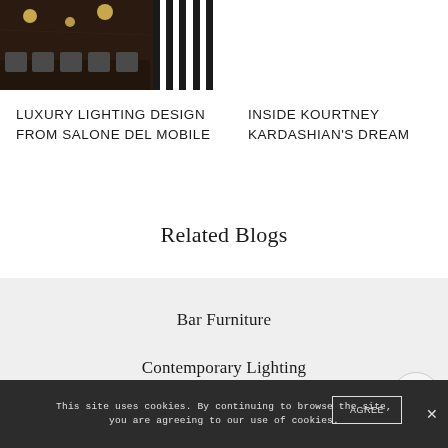[Figure (photo): Interior design photo showing a dark luxury dining/bar area with pendant globe lamps, dark marble walls, and striped black-and-white vertical panels on the right side]
LUXURY LIGHTING DESIGN FROM SALONE DEL MOBILE
INSIDE KOURTNEY KARDASHIAN'S DREAM
Related Blogs
Bar Furniture
Contemporary Lighting
This site uses cookies. By continuing to browse the site, you are agreeing to our use of cookies.